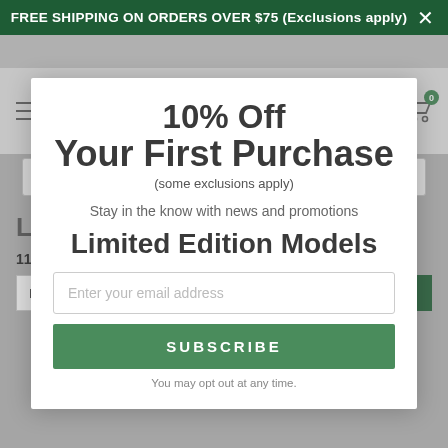FREE SHIPPING ON ORDERS OVER $75 (Exclusions apply)
[Figure (screenshot): The Cheshire Horse logo with horse illustration and store name]
Search keywords, etc.
Limited Edition Models
11 Results
Default Sort
FILTER
10% Off
Your First Purchase
(some exclusions apply)
Stay in the know with news and promotions
Enter your email address
SUBSCRIBE
You may opt out at any time.